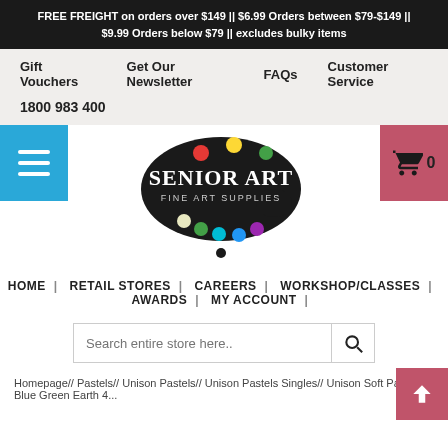FREE FREIGHT on orders over $149 || $6.99 Orders between $79-$149 || $9.99 Orders below $79 || excludes bulky items
Gift Vouchers  Get Our Newsletter  FAQs  Customer Service
1800 983 400
[Figure (logo): Senior Art Fine Art Supplies logo — black palette shape with coloured paint dots and white text]
HOME | RETAIL STORES | CAREERS | WORKSHOP/CLASSES | AWARDS | MY ACCOUNT |
Search entire store here..
Homepage// Pastels// Unison Pastels// Unison Pastels Singles// Unison Soft Pastel Blue Green Earth 4...